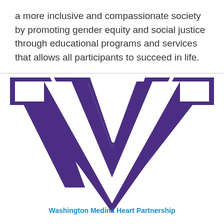a more inclusive and compassionate society by promoting gender equity and social justice through educational programs and services that allows all participants to succeed in life.
[Figure (logo): University of Washington block W logo in purple on white background]
Washington Medina Heart Partnership